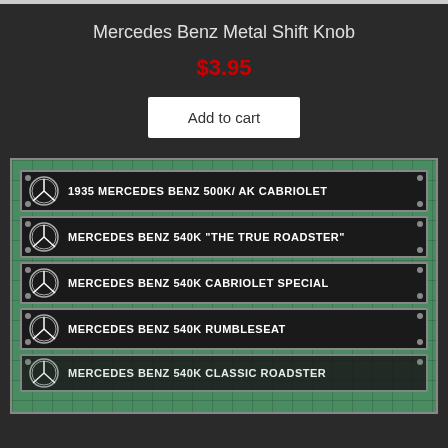Mercedes Benz Metal Shift Knob
$3.95
Add to cart
[Figure (photo): Photo of multiple black metal name plate badges with Mercedes Benz logo and model names: 1935 MERCEDES BENZ 500K/ AK CABRIOLET, MERCEDES BENZ 540K "THE TRUE ROADSTER", MERCEDES BENZ 540K CABRIOLET SPECIAL, MERCEDES BENZ 540K RUMBLESEAT, MERCEDES BENZ 540K CLASSIC ROADSTER (partial), laid on a green cutting mat background.]